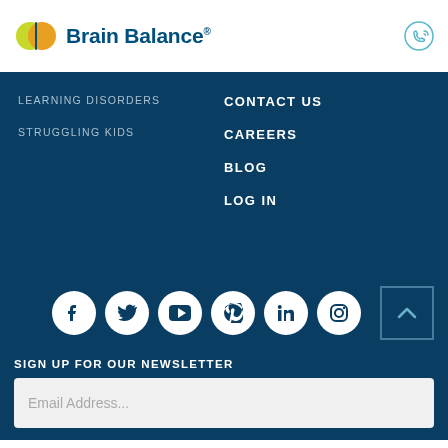Brain Balance®
LEARNING DISORDERS
STRUGGLING KIDS
CONTACT US
CAREERS
BLOG
LOG IN
[Figure (infographic): Row of 6 social media icons (Facebook, Twitter, YouTube, Pinterest, LinkedIn, Instagram) as white circles on dark blue background, plus a back-to-top button]
SIGN UP FOR OUR NEWSLETTER
Email Address...